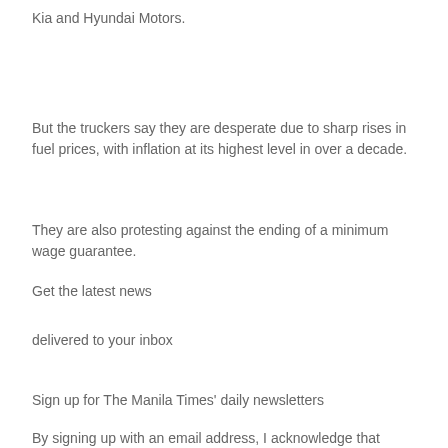Kia and Hyundai Motors.
But the truckers say they are desperate due to sharp rises in fuel prices, with inflation at its highest level in over a decade.
They are also protesting against the ending of a minimum wage guarantee.
Get the latest news
delivered to your inbox
Sign up for The Manila Times’ daily newsletters
By signing up with an email address, I acknowledge that I have read and agree to the Terms of Service and